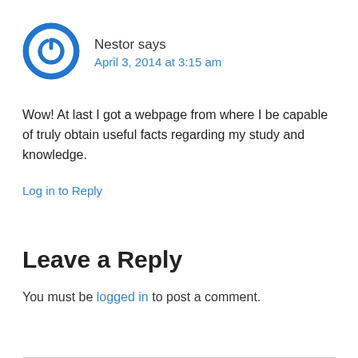[Figure (illustration): Circular blue avatar icon with a power/user symbol in the center]
Nestor says
April 3, 2014 at 3:15 am
Wow! At last I got a webpage from where I be capable of truly obtain useful facts regarding my study and knowledge.
Log in to Reply
Leave a Reply
You must be logged in to post a comment.